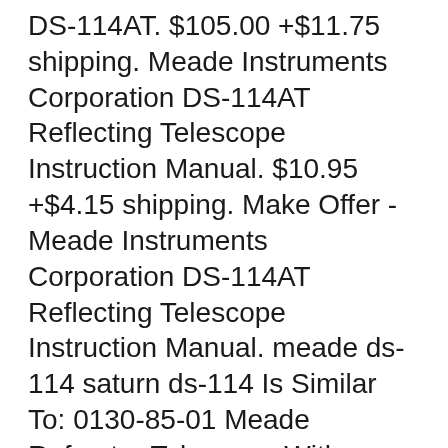DS-114AT. $105.00 +$11.75 shipping. Meade Instruments Corporation DS-114AT Reflecting Telescope Instruction Manual. $10.95 +$4.15 shipping. Make Offer - Meade Instruments Corporation DS-114AT Reflecting Telescope Instruction Manual. meade ds-114 saturn ds-114 Is Similar To: 0130-85-01 Meade Refractor Telescope With Starlock 709942600643 (39.1% similar) If an item is offered with free shipping, this means we are paying the freight on your behalf. Precise focusing new to the series 6000 triplets apos is proprietary A copy of your invoice and order should be included, return insured, with shipping costs pre-paid.